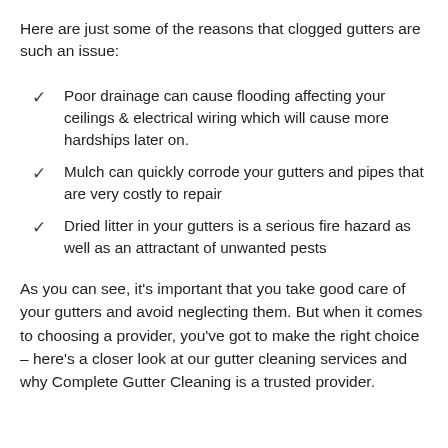Here are just some of the reasons that clogged gutters are such an issue:
Poor drainage can cause flooding affecting your ceilings & electrical wiring which will cause more hardships later on.
Mulch can quickly corrode your gutters and pipes that are very costly to repair
Dried litter in your gutters is a serious fire hazard as well as an attractant of unwanted pests
As you can see, it’s important that you take good care of your gutters and avoid neglecting them. But when it comes to choosing a provider, you’ve got to make the right choice – here’s a closer look at our gutter cleaning services and why Complete Gutter Cleaning is a trusted provider.